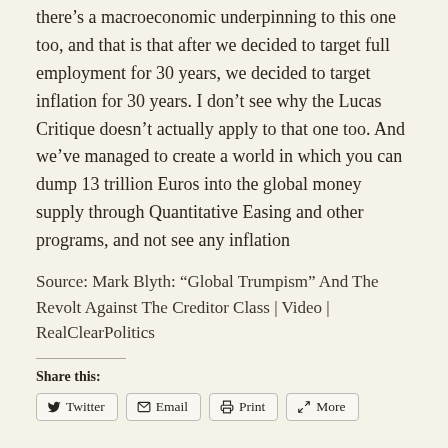there's a macroeconomic underpinning to this one too, and that is that after we decided to target full employment for 30 years, we decided to target inflation for 30 years. I don't see why the Lucas Critique doesn't actually apply to that one too. And we've managed to create a world in which you can dump 13 trillion Euros into the global money supply through Quantitative Easing and other programs, and not see any inflation
Source: Mark Blyth: “Global Trumpism” And The Revolt Against The Creditor Class | Video | RealClearPolitics
Share this: